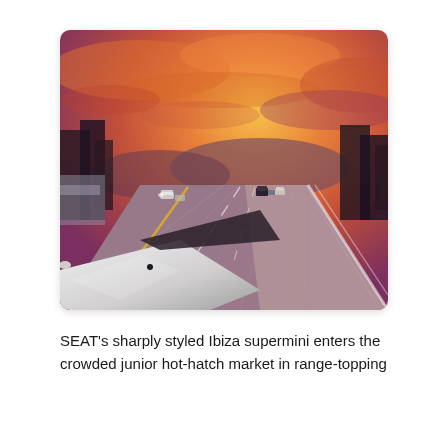[Figure (photo): A motion-blurred highway scene shot from the hood/cowl of a moving car. The road stretches into the distance with lane markings and a yellow centre line. Several vehicles are visible ahead. Trees line both sides of the highway. The sky above is dramatic with deep orange, red, and purple sunset clouds. The foreground shows the white bonnet/hood of the car from a low angle.]
SEAT's sharply styled Ibiza supermini enters the crowded junior hot-hatch market in range-topping